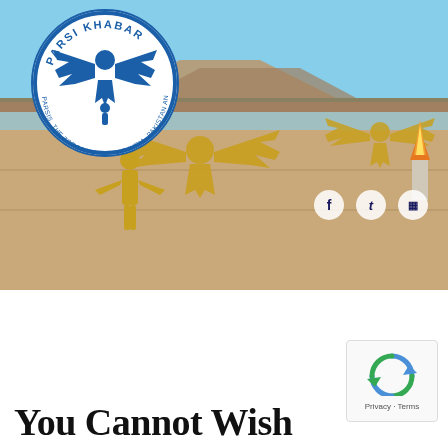[Figure (photo): Header banner showing a Zoroastrian temple facade with golden Faravahar (winged figure) reliefs and human figure sculptures on a stone wall, with a blue sky background. The Parsi Khabar circular blue logo is overlaid in the top-left corner. Social media icons (Facebook, Twitter, RSS) are visible at the right side.]
[Figure (other): reCAPTCHA widget with the recycling-arrow logo icon in blue/green, and 'Privacy - Terms' text below on a light grey box with rounded corners]
You Cannot Wish